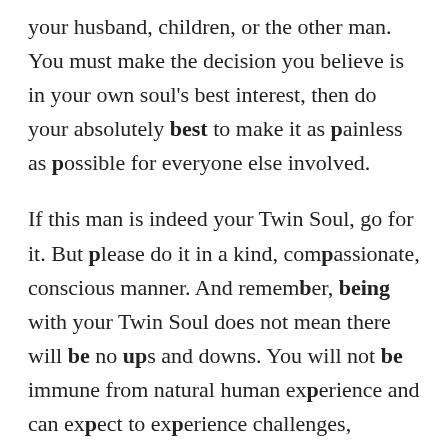your husband, children, or the other man. You must make the decision you believe is in your own soul's best interest, then do your absolutely best to make it as painless as possible for everyone else involved.
If this man is indeed your Twin Soul, go for it. But please do it in a kind, compassionate, conscious manner. And remember, being with your Twin Soul does not mean there will be no ups and downs. You will not be immune from natural human experience and can expect to experience challenges, awakenings, and healings. In fact, everything that still needs healing in either of you will most definitely come